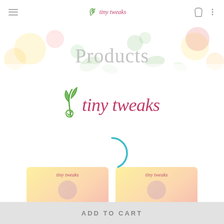tiny tweaks
Products
[Figure (logo): Tiny Tweaks brand logo with green leaf/plant icon and cursive pink-red 'tiny tweaks' text]
[Figure (other): Loading spinner - teal/cyan partial circle arc indicating content is loading]
[Figure (other): Two product cards with pink-yellow gradient background showing tiny tweaks branding]
ADD TO CART